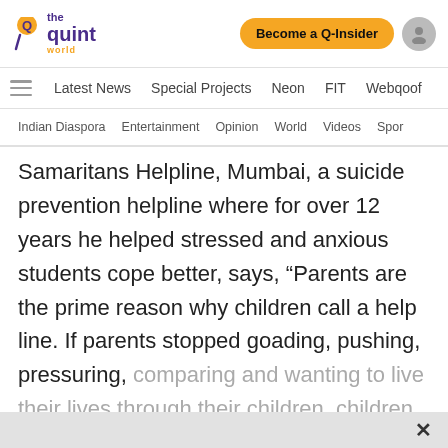the quint world | Become a Q-Insider
Latest News  Special Projects  Neon  FIT  Webqoof
Indian Diaspora  Entertainment  Opinion  World  Videos  Spor
Samaritans Helpline, Mumbai, a suicide prevention helpline where for over 12 years he helped stressed and anxious students cope better, says, “Parents are the prime reason why children call a help line. If parents stopped goading, pushing, pressuring, comparing and wanting to live their lives through their children, children would be less stressed.”
Read Full Article